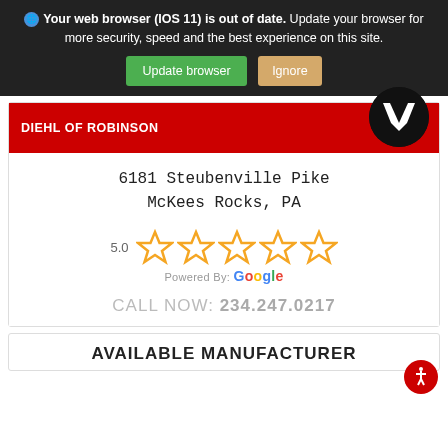🌐 Your web browser (IOS 11) is out of date. Update your browser for more security, speed and the best experience on this site.
Update browser | Ignore
[Figure (logo): Diehl of Robinson logo — circular black badge with white V chevron]
DIEHL OF ROBINSON
6181 Steubenville Pike
McKees Rocks, PA
[Figure (other): 5.0 star rating with 5 gold stars, Powered By: Google]
CALL NOW: 234.247.0217
[Figure (other): Red circular accessibility icon button]
AVAILABLE MANUFACTURER